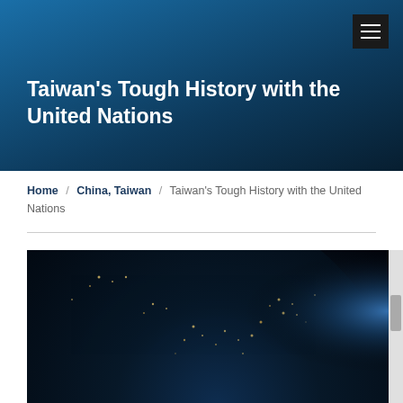[Figure (photo): Dark blue gradient header background with navigation menu button in top-right corner]
Taiwan's Tough History with the United Nations
Home / China, Taiwan / Taiwan's Tough History with the United Nations
[Figure (photo): Satellite view of Earth at night showing city lights across Asia, with a glowing blue limb at the right edge]